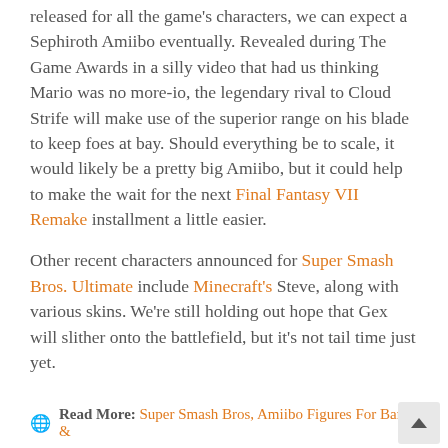released for all the game's characters, we can expect a Sephiroth Amiibo eventually. Revealed during The Game Awards in a silly video that had us thinking Mario was no more-io, the legendary rival to Cloud Strife will make use of the superior range on his blade to keep foes at bay. Should everything be to scale, it would likely be a pretty big Amiibo, but it could help to make the wait for the next Final Fantasy VII Remake installment a little easier.
Other recent characters announced for Super Smash Bros. Ultimate include Minecraft's Steve, along with various skins. We're still holding out hope that Gex will slither onto the battlefield, but it's not tail time just yet.
Read More: Super Smash Bros, Amiibo Figures For Banjo &